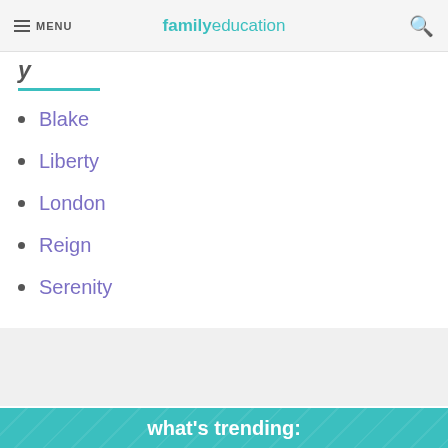MENU familyeducation
y
Blake
Liberty
London
Reign
Serenity
[Figure (other): Grey advertisement or promotional placeholder box]
what's trending: